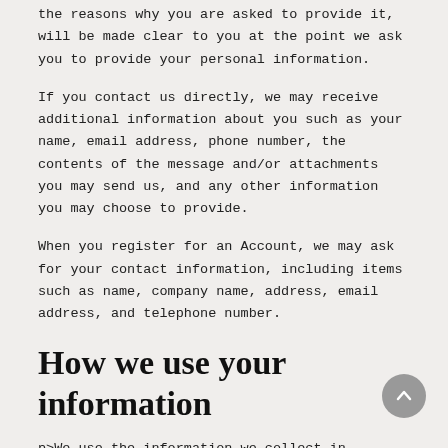the reasons why you are asked to provide it, will be made clear to you at the point we ask you to provide your personal information.
If you contact us directly, we may receive additional information about you such as your name, email address, phone number, the contents of the message and/or attachments you may send us, and any other information you may choose to provide.
When you register for an Account, we may ask for your contact information, including items such as name, company name, address, email address, and telephone number.
How we use your information
p>We use the information we collect in various ways, including to: